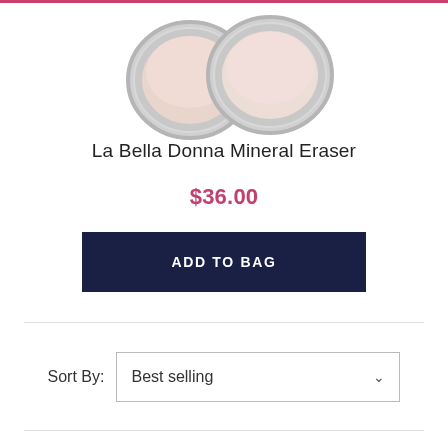[Figure (photo): Two open compact powder/concealer pans with silver rims, showing a light peachy-pink product inside, photographed from above against a white background.]
La Bella Donna Mineral Eraser
$36.00
ADD TO BAG
Sort By: Best selling